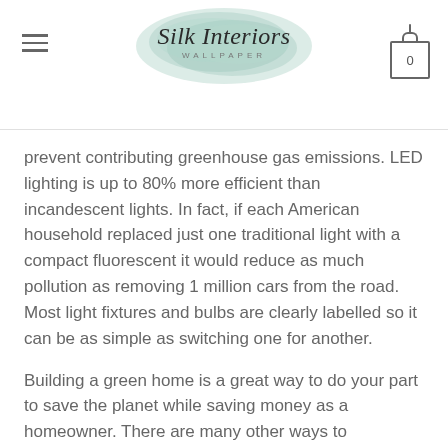Silk Interiors Wallpaper
prevent contributing greenhouse gas emissions. LED lighting is up to 80% more efficient than incandescent lights. In fact, if each American household replaced just one traditional light with a compact fluorescent it would reduce as much pollution as removing 1 million cars from the road. Most light fixtures and bulbs are clearly labelled so it can be as simple as switching one for another.
Building a green home is a great way to do your part to save the planet while saving money as a homeowner. There are many other ways to incorporate sustainability into your home and your daily life. All of these and more will benefit both your family and the global environment.